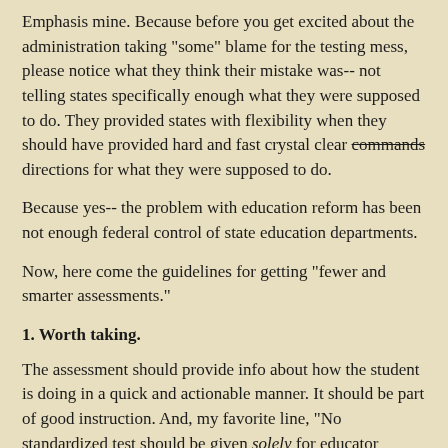Emphasis mine. Because before you get excited about the administration taking "some" blame for the testing mess, please notice what they think their mistake was-- not telling states specifically enough what they were supposed to do. They provided states with flexibility when they should have provided hard and fast crystal clear commands directions for what they were supposed to do.
Because yes-- the problem with education reform has been not enough federal control of state education departments.
Now, here come the guidelines for getting "fewer and smarter assessments."
1. Worth taking.
The assessment should provide info about how the student is doing in a quick and actionable manner. It should be part of good instruction. And, my favorite line, "No standardized test should be given solely for educator evaluation." Emphasis on "solely" is mine.